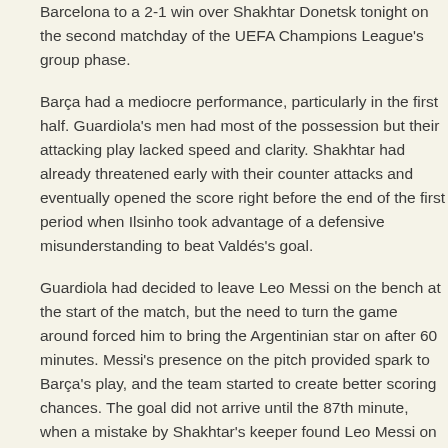Barcelona to a 2-1 win over Shakhtar Donetsk tonight on the second matchday of the UEFA Champions League's group phase.
Barça had a mediocre performance, particularly in the first half. Guardiola's men had most of the possession but their attacking play lacked speed and clarity. Shakhtar had already threatened early with their counter attacks and eventually opened the score right before the end of the first period when Ilsinho took advantage of a defensive misunderstanding to beat Valdés's goal.
Guardiola had decided to leave Leo Messi on the bench at the start of the match, but the need to turn the game around forced him to bring the Argentinian star on after 60 minutes. Messi's presence on the pitch provided spark to Barça's play, and the team started to create better scoring chances. The goal did not arrive until the 87th minute, when a mistake by Shakhtar's keeper found Leo Messi on hand to pick up the ball and score the equalizer. Five minutes later a fine pass by Xavi found Messi clear on the left side of the box; Leo lifted the ball brilliantly over the keeper and into the net to get his second goal and give his side all three points.